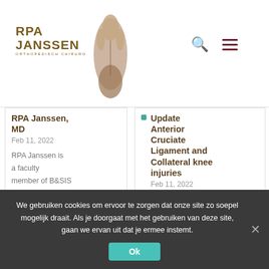[Figure (logo): RPA Janssen Orthopedisch Chirurg logo with hand illustration]
RPA Janssen, MD
Feb 11, 2022
RPA Janssen is a faculty member of B&SIS Knee courses....
Update Anterior Cruciate Ligament and Collateral knee injuries
Feb 11, 2022
Multiple ligament injuries may occur simultaneously in knee RPA...
RPA Janssen
We gebruiken cookies om ervoor te zorgen dat onze site zo soepel mogelijk draait. Als je doorgaat met het gebruiken van deze site, gaan we ervan uit dat je ermee instemt.